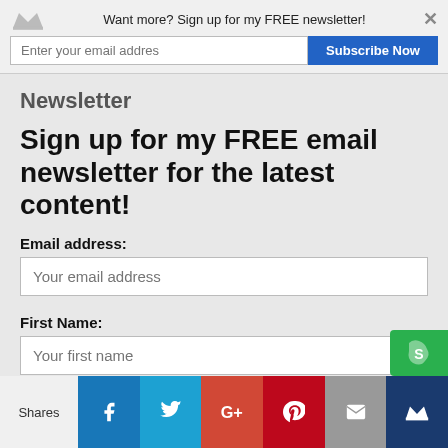Want more? Sign up for my FREE newsletter!
Sign up for my FREE email newsletter for the latest content!
Email address:
Your email address
First Name:
Your first name
Last Name:
Your last name
Shares